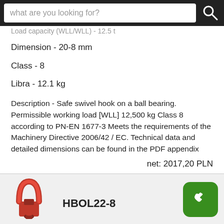what are you looking for?
Load capacity (WLL/WLL) - 12.5 t
Dimension - 20-8 mm
Class - 8
Libra - 12.1 kg
Description - Safe swivel hook on a ball bearing. Permissible working load [WLL] 12,500 kg Class 8 according to PN-EN 1677-3 Meets the requirements of the Machinery Directive 2006/42 / EC. Technical data and detailed dimensions can be found in the PDF appendix
net: 2017,20 PLN
[Figure (photo): Red swivel hook product photo at bottom left]
HBOL22-8